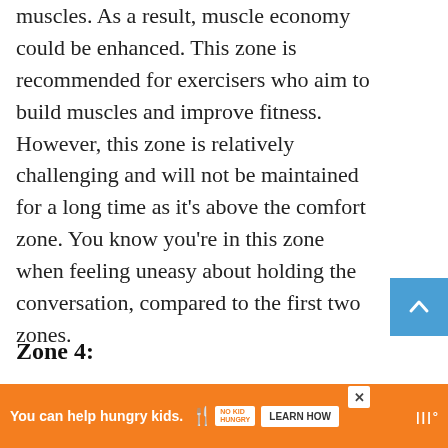muscles. As a result, muscle economy could be enhanced. This zone is recommended for exercisers who aim to build muscles and improve fitness. However, this zone is relatively challenging and will not be maintained for a long time as it's above the comfort zone. You know you're in this zone when feeling uneasy about holding the conversation, compared to the first two zones.
Zone 4:
| Intensity | Vigorous |
| --- | --- |